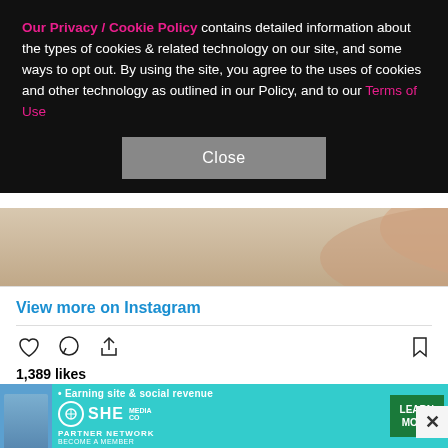Our Privacy / Cookie Policy contains detailed information about the types of cookies & related technology on our site, and some ways to opt out. By using the site, you agree to the uses of cookies and other technology as outlined in our Policy, and to our Terms of Use
Close
[Figure (photo): Partial view of a person in a bathtub or bath setting]
View more on Instagram
1,389 likes
etam
ETAM X THYLANE 🌙 Il est encore temps de shopper les dernières pièces de la collection Etam imaginée par @thylaneblondeau !
[Figure (screenshot): SHE Partner Network advertisement banner — Earning site & social revenue — LEARN MORE]